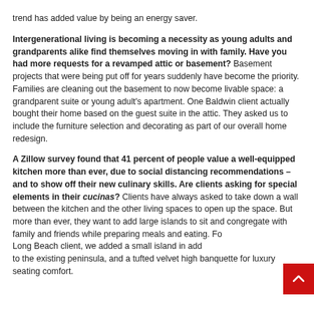trend has added value by being an energy saver.
Intergenerational living is becoming a necessity as young adults and grandparents alike find themselves moving in with family. Have you had more requests for a revamped attic or basement? Basement projects that were being put off for years suddenly have become the priority. Families are cleaning out the basement to now become livable space: a grandparent suite or young adult's apartment. One Baldwin client actually bought their home based on the guest suite in the attic. They asked us to include the furniture selection and decorating as part of our overall home redesign.
A Zillow survey found that 41 percent of people value a well-equipped kitchen more than ever, due to social distancing recommendations – and to show off their new culinary skills. Are clients asking for special elements in their cucinas? Clients have always asked to take down a wall between the kitchen and the other living spaces to open up the space. But more than ever, they want to add large islands to sit and congregate with family and friends while preparing meals and eating. For a Long Beach client, we added a small island in addition to the existing peninsula, and a tufted velvet high banquette for luxury seating comfort.